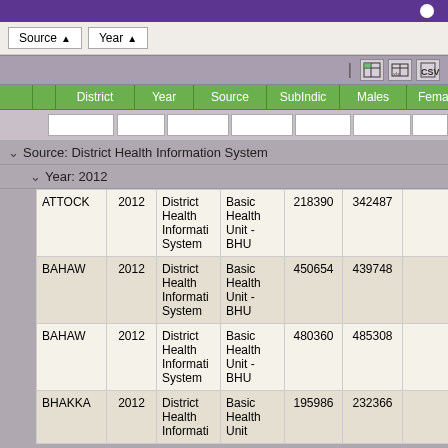Source ▲  Year ▲
|  |  | District | Year | Source | SubIndic | Males | Females | Value |
| --- | --- | --- | --- | --- | --- | --- | --- | --- |
|  | Source: District Health Information System |  |  |  |  |  |  |  |
|  | Year: 2012 |  |  |  |  |  |  |  |
|  | ATTOCK | 2012 | District Health Information System | Basic Health Unit - BHU | 218390 | 342487 |  |
|  | BAHAW | 2012 | District Health Information System | Basic Health Unit - BHU | 450654 | 439748 |  |
|  | BAHAW | 2012 | District Health Information System | Basic Health Unit - BHU | 480360 | 485308 |  |
|  | BHAKKA | 2012 | District Health Information | Basic Health Unit | 195986 | 232366 |  |